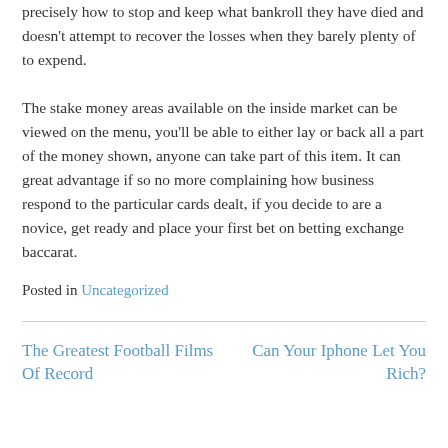precisely how to stop and keep what bankroll they have died and doesn't attempt to recover the losses when they barely plenty of to expend.
The stake money areas available on the inside market can be viewed on the menu, you'll be able to either lay or back all a part of the money shown, anyone can take part of this item. It can great advantage if so no more complaining how business respond to the particular cards dealt, if you decide to are a novice, get ready and place your first bet on betting exchange baccarat.
Posted in Uncategorized
The Greatest Football Films Of Record
Can Your Iphone Let You Rich?